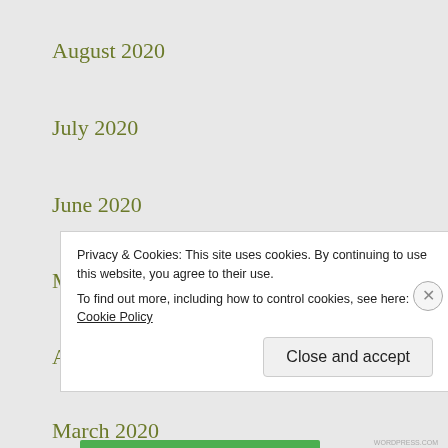August 2020
July 2020
June 2020
May 2020
April 2020
March 2020
Privacy & Cookies: This site uses cookies. By continuing to use this website, you agree to their use.
To find out more, including how to control cookies, see here: Cookie Policy
Close and accept